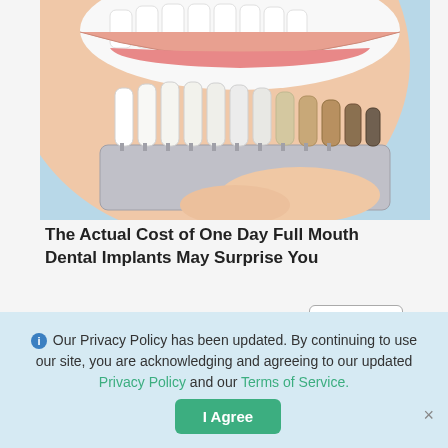[Figure (photo): Close-up photo of a woman smiling with white teeth, holding a dental shade guide/color matcher tool (gray plastic with multiple tooth-shaped white veneers arranged in a row)]
The Actual Cost of One Day Full Mouth Dental Implants May Surprise You
Dental Implants
[Figure (photo): Close-up cropped photo of a person's forehead/skin showing skin texture and wrinkles]
ℹ Our Privacy Policy has been updated. By continuing to use our site, you are acknowledging and agreeing to our updated Privacy Policy and our Terms of Service.